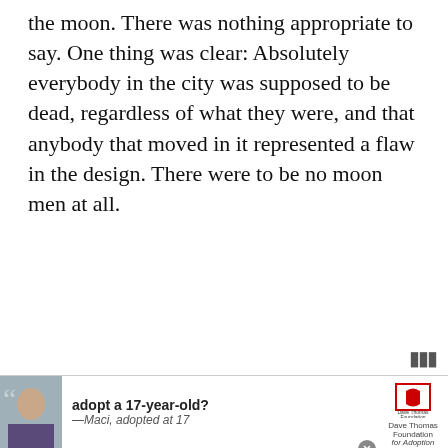the moon. There was nothing appropriate to say. One thing was clear: Absolutely everybody in the city was supposed to be dead, regardless of what they were, and that anybody that moved in it represented a flaw in the design. There were to be no moon men at all.
—Kurt Vonnegut, "Slaughterhouse-Five"
>> More Kurt Vonnegut Quotations...
The city was blacked out because bombers might come, so Billy didn't get to see Dresden do one of the most cheerful things a city can do when the sun goes down, which is to wink its lights on one by one...
[Figure (screenshot): What's Next promotional overlay showing Best 70 Sister Quotes And... with thumbnail]
[Figure (screenshot): Advertisement bar: adopt a 17-year-old? —Maci, adopted at 17. Dave Thomas Foundation for Adoption logo.]